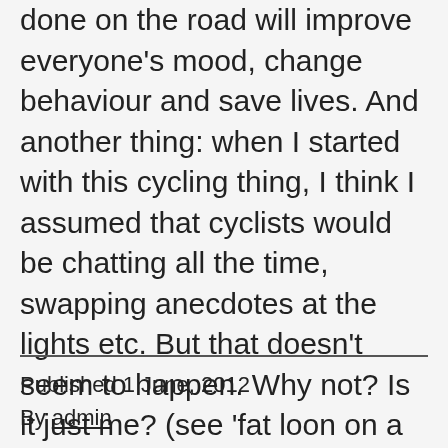done on the road will improve everyone's mood, change behaviour and save lives. And another thing: when I started with this cycling thing, I think I assumed that cyclists would be chatting all the time, swapping anecdotes at the lights etc. But that doesn't seem to happen. Why not? Is it just me? (see 'fat loon on a bike' point above).
Published 1 June, 2012
By admin